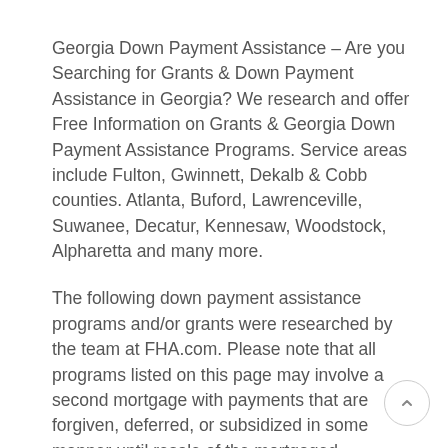Georgia Down Payment Assistance – Are you Searching for Grants & Down Payment Assistance in Georgia? We research and offer Free Information on Grants & Georgia Down Payment Assistance Programs. Service areas include Fulton, Gwinnett, Dekalb & Cobb counties. Atlanta, Buford, Lawrenceville, Suwanee, Decatur, Kennesaw, Woodstock, Alpharetta and many more.
The following down payment assistance programs and/or grants were researched by the team at FHA.com. Please note that all programs listed on this page may involve a second mortgage with payments that are forgiven, deferred, or subsidized in some manner until resale of the mortgaged property.
Need Help With Downpayment For A House First Time...